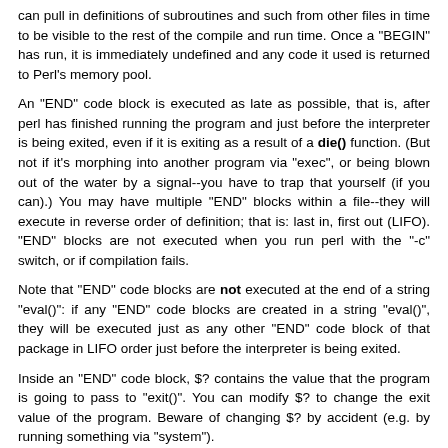can pull in definitions of subroutines and such from other files in time to be visible to the rest of the compile and run time. Once a "BEGIN" has run, it is immediately undefined and any code it used is returned to Perl's memory pool.
An "END" code block is executed as late as possible, that is, after perl has finished running the program and just before the interpreter is being exited, even if it is exiting as a result of a die() function. (But not if it's morphing into another program via "exec", or being blown out of the water by a signal--you have to trap that yourself (if you can).) You may have multiple "END" blocks within a file--they will execute in reverse order of definition; that is: last in, first out (LIFO). "END" blocks are not executed when you run perl with the "-c" switch, or if compilation fails.
Note that "END" code blocks are not executed at the end of a string "eval()": if any "END" code blocks are created in a string "eval()", they will be executed just as any other "END" code block of that package in LIFO order just before the interpreter is being exited.
Inside an "END" code block, $? contains the value that the program is going to pass to "exit()". You can modify $? to change the exit value of the program. Beware of changing $? by accident (e.g. by running something via "system").